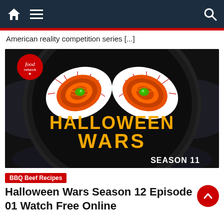Navigation bar with home icon, hamburger menu, and search icon
American reality competition series [...]
[Figure (photo): Halloween Wars Season 11 promotional poster showing two glowing evil eyes made of food on a dark plate, with 'HALLOWEEN WARS' in orange text and 'SEASON 11' label. Food Network logo in top left corner.]
BBQ Beef Recipes
Halloween Wars Season 12 Episode 01 Watch Free Online